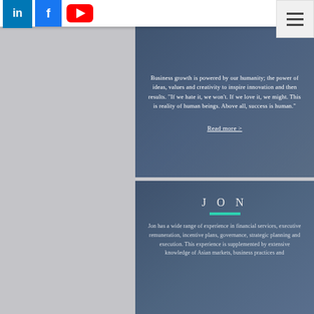[Figure (screenshot): Social media icons: LinkedIn (blue), Facebook (blue), YouTube (red) in top navigation bar]
[Figure (screenshot): Hamburger menu icon (three horizontal lines) in top right corner]
Business growth is powered by our humanity; the power of ideas, values and creativity to inspire innovation and then results. "If we hate it, we won't. If we love it, we might. This is reality of human beings. Above all, success is human."
Read more >
JON
Jon has a wide range of experience in financial services, executive remuneration, incentive plans, governance, strategic planning and execution. This experience is supplemented by extensive knowledge of Asian markets, business practices and